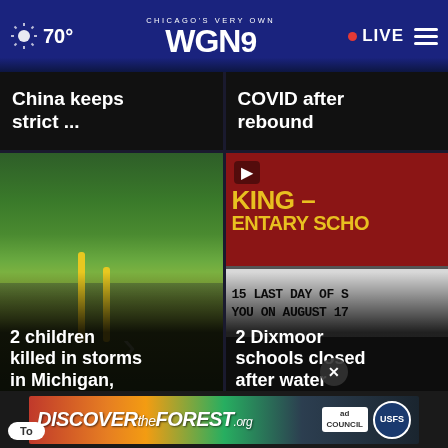Chicago's Very Own WGN 9 — 70° — LIVE
China keeps strict ...
COVID after rebound
[Figure (photo): Flooded area with yellow poles partially submerged in water, trees in background]
2 children killed in storms in Michigan, Arkansas
[Figure (photo): King Elementary School sign with text '15 LAST DAY OF S YOU ON AUGUST 17']
2 Dixmoor schools closed after water main brea...
[Figure (infographic): DiscoverTheForest.org advertisement banner with Ad Council and US Forest Service logos]
To